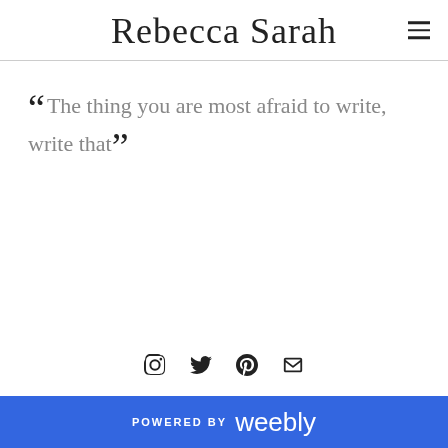Rebecca Sarah
“ The thing you are most afraid to write, write that”
[Figure (other): Social media icons row: Instagram, Twitter, Pinterest, Email]
POWERED BY weebly